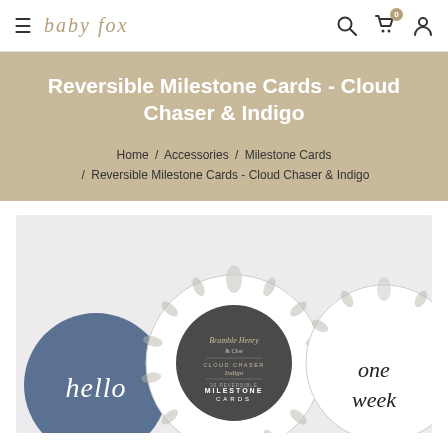baby fox — navigation with search, cart (0), and account icons
Reversible Milestone Cards - Cloud Chaser & Indigo
Home / Accessories / Milestone Cards / Reversible Milestone Cards - Cloud Chaser & Indigo
[Figure (photo): Product photo of Reversible Milestone Cards - Cloud Chaser & Indigo. Shows three circular cards: a dark navy blue card with 'hello' in script, a round card with botanical floral pattern and central label reading 'Cloud Chaser Indigo - 30 Reversible Milestone Cards', and a white floral-bordered card on the right reading 'one week' in script. Light grey/white background.]